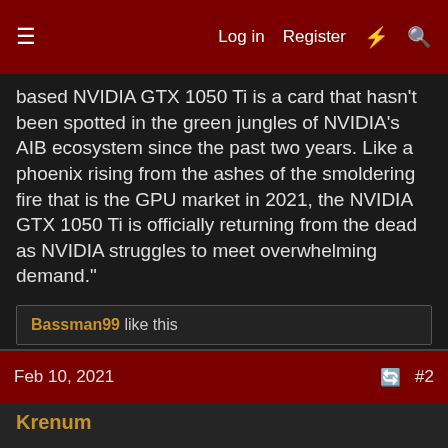Log in | Register | # | Search
based NVIDIA GTX 1050 Ti is a card that hasn't been spotted in the green jungles of NVIDIA's AIB ecosystem since the past two years. Like a phoenix rising from the ashes of the smoldering fire that is the GPU market in 2021, the NVIDIA GTX 1050 Ti is officially returning from the dead as NVIDIA struggles to meet overwhelming demand."
Bassman99 like this
Feb 10, 2021  #2
Krenum
Fully [H]
This is absurd.

Although...if the price is right (which it won't be) I may get one of these for my emulation machine and replace the 980 in it just for lower power consumption.